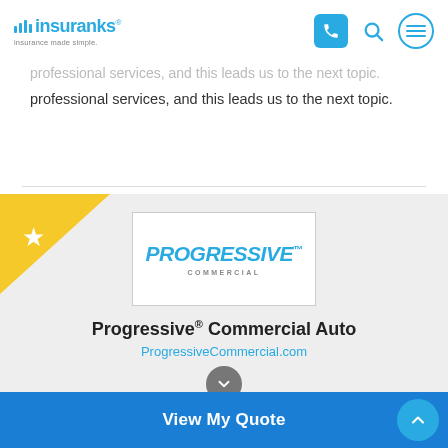insuranks - insurance made simple. [phone icon, search icon, menu icon]
professional services, and this leads us to the next topic.
[Figure (logo): Progressive Commercial Auto logo — blue italic PROGRESSIVE text above smaller gray COMMERCIAL text, in a white bordered box]
Progressive® Commercial Auto
ProgressiveCommercial.com
View My Quote